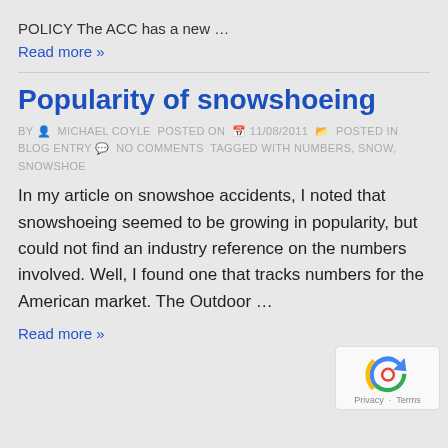POLICY The ACC has a new …
Read more »
Popularity of snowshoeing
BY  MICHAEL COYLE POSTED ON  11/08/2011  POSTED IN BLOG ENTRY  NO COMMENTS TAGGED WITH NUMBERS, SNOW, SNOWSHOE
In my article on snowshoe accidents, I noted that snowshoeing seemed to be growing in popularity, but could not find an industry reference on the numbers involved. Well, I found one that tracks numbers for the American market. The Outdoor …
Read more »